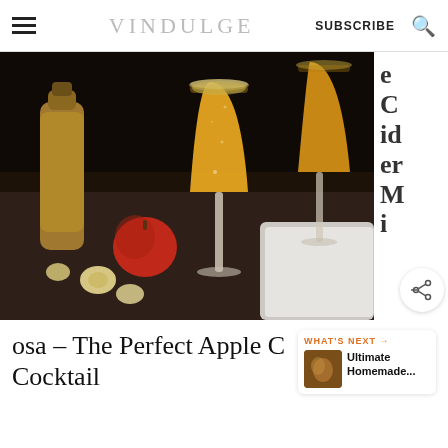VINDULGE | SUBSCRIBE
[Figure (photo): Two champagne flutes filled with golden apple cider mimosa, garnished with sugar rims, surrounded by red apples and apple slices on a dark surface with a white cloth in the background. A jar of apple cider is visible behind.]
e Cider Mi
osa – The Perfect Apple C… Cocktail
WHAT’S NEXT → Ultimate Homemade...